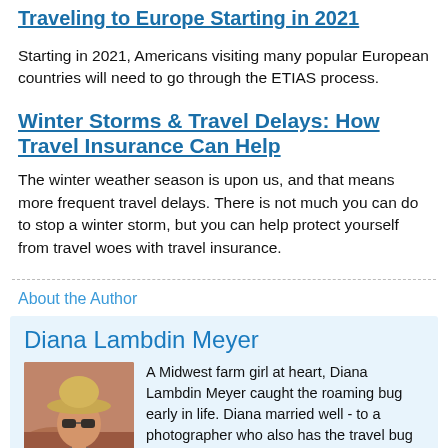Traveling to Europe Starting in 2021
Starting in 2021, Americans visiting many popular European countries will need to go through the ETIAS process.
Winter Storms & Travel Delays: How Travel Insurance Can Help
The winter weather season is upon us, and that means more frequent travel delays. There is not much you can do to stop a winter storm, but you can help protect yourself from travel woes with travel insurance.
About the Author
Diana Lambdin Meyer
[Figure (photo): Headshot photo of Diana Lambdin Meyer wearing a hat and sunglasses, outdoors with reddish rocky background]
A Midwest farm girl at heart, Diana Lambdin Meyer caught the roaming bug early in life. Diana married well - to a photographer who also has the travel bug and whose work in still and video complements her words. Now based in the Kansas City area, Diana is a member of the Society of American Travel Writ...